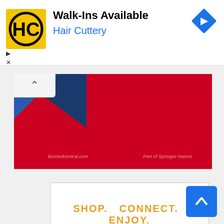[Figure (other): Hair Cuttery advertisement banner with yellow/black HC logo, text 'Walk-Ins Available' and 'Hair Cuttery' in blue, with a blue diamond navigation arrow on the right]
[Figure (photo): Red banner with blue/dark geometric shape image on left, faded text 'biomedcentral.com' and 'Part of Springer Nature' on red background]
[Figure (other): White advertisement box with orange bold text 'SHOP. CONNECT. ENJOY.' and a small 'Privacy' link at the bottom left]
[Figure (other): Blue scroll-to-top button with white upward caret arrow, positioned bottom right]